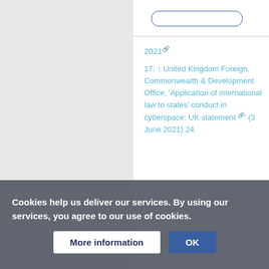2021
17. ↑ United Kingdom Foreign, Commonwealth & Development Office, 'Application of international law to states' conduct in cyberspace: UK statement' (3 June 2021) 24.
Cookies help us deliver our services. By using our services, you agree to our use of cookies.